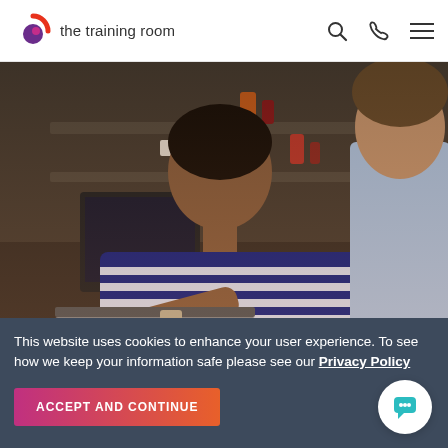the training room
[Figure (photo): Two people at a cafe table, a woman in a blue and white striped top pointing at a laptop screen, being shown something by a man in a light blue shirt, with shelves and bottles in the background]
Why Choose Us?
This website uses cookies to enhance your user experience. To see how we keep your information safe please see our Privacy Policy
ACCEPT AND CONTINUE